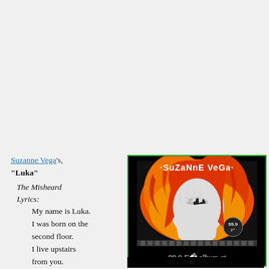Suzanne Vega's, "Luka" The Misheard Lyrics: My name is Luka. I was born on the second floor. I live upstairs from you. The Real Lyrics:
[Figure (photo): Album cover for Suzanne Vega's 99.9 F° album showing a woman with red/orange hair and black and white hand near face, with '·SuZaNnE VeGa·' text at top and '99.9 F°' logo in corner]
99.9 F° album at